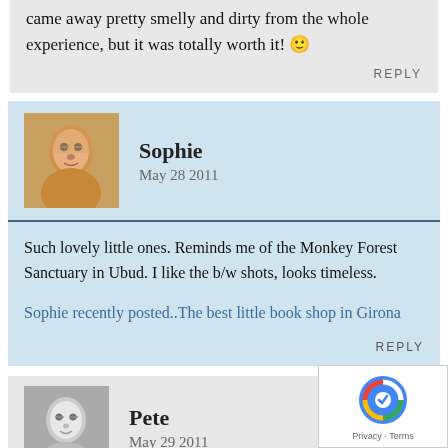came away pretty smelly and dirty from the whole experience, but it was totally worth it! 🙂
REPLY
Sophie
May 28 2011
Such lovely little ones. Reminds me of the Monkey Forest Sanctuary in Ubud. I like the b/w shots, looks timeless.
Sophie recently posted..The best little book shop in Girona
REPLY
Pete
May 29 2011